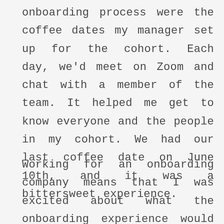onboarding process were the coffee dates my manager set up for the cohort. Each day, we'd meet on Zoom and chat with a member of the team. It helped me get to know everyone and the people in my cohort. We had our last coffee date on June 10th, and it was a bittersweet experience.
Working for an onboarding company means that I was excited about what the onboarding experience would be like. Overall, I think I had a great onboarding experience, given all the craziness happening right now. Most employees for the company I work for